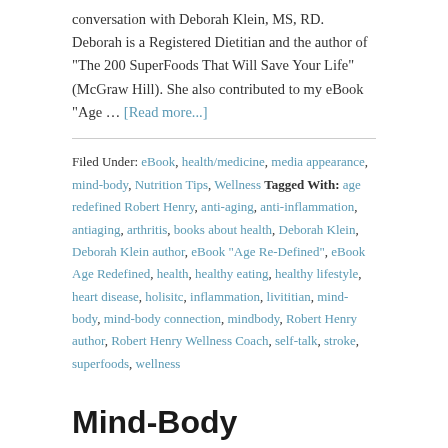conversation with Deborah Klein, MS, RD. Deborah is a Registered Dietitian and the author of "The 200 SuperFoods That Will Save Your Life" (McGraw Hill). She also contributed to my eBook "Age … [Read more...]
Filed Under: eBook, health/medicine, media appearance, mind-body, Nutrition Tips, Wellness Tagged With: age redefined Robert Henry, anti-aging, anti-inflammation, antiaging, arthritis, books about health, Deborah Klein, Deborah Klein author, eBook "Age Re-Defined", eBook Age Redefined, health, healthy eating, healthy lifestyle, heart disease, holisitc, inflammation, livititian, mind-body, mind-body connection, mindbody, Robert Henry author, Robert Henry Wellness Coach, self-talk, stroke, superfoods, wellness
Mind-Body Connection, Age Re-Defined, and More...
December 18, 2016 By Robert Henry